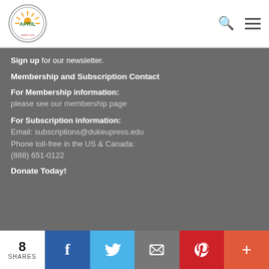[Figure (logo): APRIL (Association for Public Religion and Intellectual Life) circular logo with sun motif]
Sign up for our newsletter.
Membership and Subscription Contact
For Membership information: please see our membership page
For Subscription information: Email: subscriptions@dukeupress.edu Phone toll-free in the US & Canada: (888) 651-0122
Donate Today!
8 SHARES